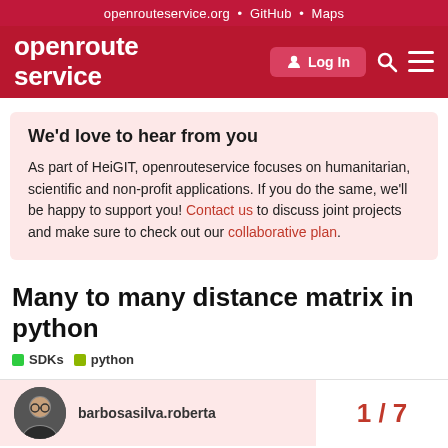openrouteservice.org • GitHub • Maps
[Figure (logo): openrouteservice logo in white text on dark red background, with Log In button, search and menu icons]
We'd love to hear from you

As part of HeiGIT, openrouteservice focuses on humanitarian, scientific and non-profit applications. If you do the same, we'll be happy to support you! Contact us to discuss joint projects and make sure to check out our collaborative plan.
Many to many distance matrix in python
SDKs
python
barbosasilva.roberta
1 / 7